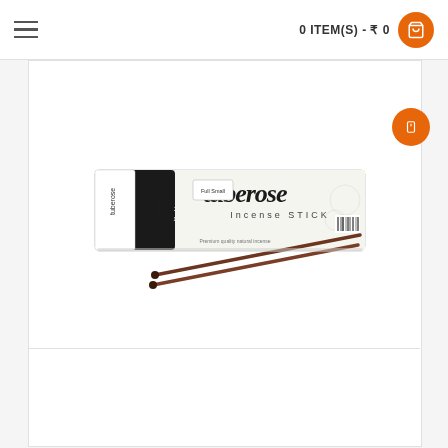0 ITEM(S) - ₹ 0
[Figure (photo): Product image of Tuberose Incense Stick box with two brown incense sticks placed diagonally in front. The white box has black cursive text reading 'tuberose incense stick' and a black oval label on a white/black background.]